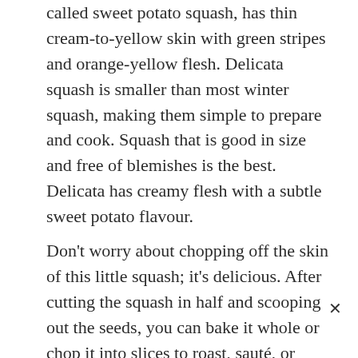called sweet potato squash, has thin cream-to-yellow skin with green stripes and orange-yellow flesh. Delicata squash is smaller than most winter squash, making them simple to prepare and cook. Squash that is good in size and free of blemishes is the best. Delicata has creamy flesh with a subtle sweet potato flavour.
Don't worry about chopping off the skin of this little squash; it's delicious. After cutting the squash in half and scooping out the seeds, you can bake it whole or chop it into slices to roast, sauté, or steam. Squash delicata is also great